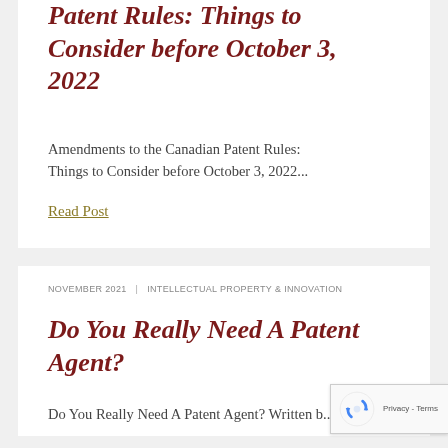Patent Rules: Things to Consider before October 3, 2022
Amendments to the Canadian Patent Rules: Things to Consider before October 3, 2022...
Read Post
NOVEMBER 2021 | INTELLECTUAL PROPERTY & INNOVATION
Do You Really Need A Patent Agent?
Do You Really Need A Patent Agent? Written b... Do So... B... After... the ... of...